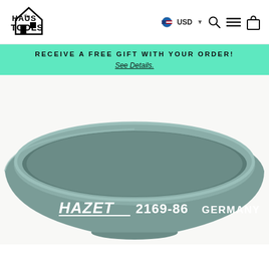[Figure (logo): Haus of Tools logo — stylized house with wrench and text HAUS of TOOLS in bold black letters]
[Figure (infographic): Navigation bar icons: US dollar flag currency selector showing USD with dropdown arrow, search magnifying glass icon, hamburger menu icon, shopping bag icon]
RECEIVE A FREE GIFT WITH YOUR ORDER!
See Details.
[Figure (photo): Close-up photo of a grey/teal plastic funnel or bowl tool stamped with HAZET 2169-86 GERMANY in white text on the side. The bowl is shot from slightly above showing the wide circular rim and the HAZET branding prominently on the front.]